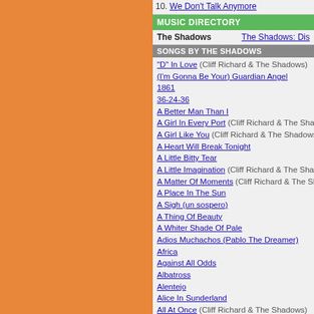10. We Don't Talk Anymore
MUSIC DIRECTORY
The Shadows   The Shadows: Dis
SONGS BY THE SHADOWS
"D" In Love (Cliff Richard & The Shadows)
(I'm Gonna Be Your) Guardian Angel
1861
36-24-36
A Better Man Than I
A Girl In Every Port (Cliff Richard & The Shadows)
A Girl Like You (Cliff Richard & The Shadows)
A Heart Will Break Tonight
A Little Bitty Tear
A Little Imagination (Cliff Richard & The Shadows)
A Matter Of Moments (Cliff Richard & The Shadows)
A Place In The Sun
A Sigh (un sospero)
A Thing Of Beauty
A Whiter Shade Of Pale
Adios Muchachos (Pablo The Dreamer)
Africa
Against All Odds
Albatross
Alentejo
Alice In Sunderland
All At Once (Cliff Richard & The Shadows)
All Day
All I Ask Of You
All I Do Is Dream For You (Cliff Richard & The Shadows)
All I Have To Do Is Dream
All Kinds Of People (Cliff Richard & The Shadows)
All My Sorrows
Almost Like Being In Love (Brigadoon, Act 1 scene) (Cliff Richard & The Shadows)